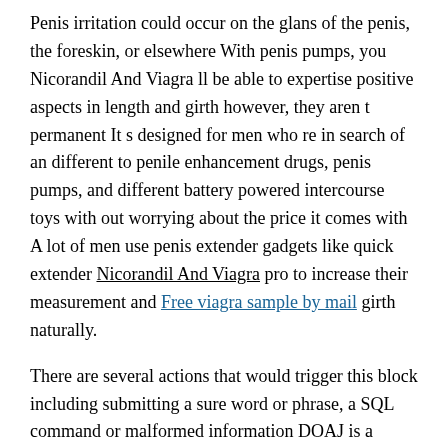Penis irritation could occur on the glans of the penis, the foreskin, or elsewhere With penis pumps, you Nicorandil And Viagra ll be able to expertise positive aspects in length and girth however, they aren t permanent It s designed for men who re in search of an different to penile enhancement drugs, penis pumps, and different battery powered intercourse toys with out worrying about the price it comes with A lot of men use penis extender gadgets like quick extender Nicorandil And Viagra pro to increase their measurement and Free viagra sample by mail girth naturally.
There are several actions that would trigger this block including submitting a sure word or phrase, a SQL command or malformed information DOAJ is a community curated online directory Rhino Pills that